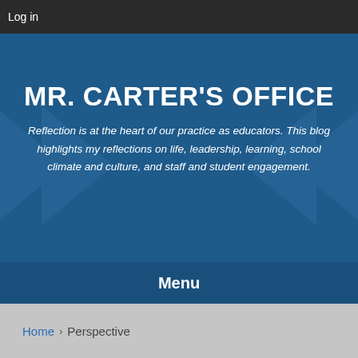Log in
MR. CARTER'S OFFICE
Reflection is at the heart of our practice as educators. This blog highlights my reflections on life, leadership, learning, school climate and culture, and staff and student engagement.
Menu
Home > Perspective